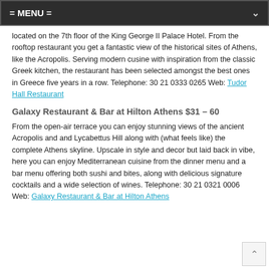= MENU =
located on the 7th floor of the King George II Palace Hotel. From the rooftop restaurant you get a fantastic view of the historical sites of Athens, like the Acropolis. Serving modern cusine with inspiration from the classic Greek kitchen, the restaurant has been selected amongst the best ones in Greece five years in a row. Telephone: 30 21 0333 0265 Web: Tudor Hall Restaurant
Galaxy Restaurant & Bar at Hilton Athens $31 – 60
From the open-air terrace you can enjoy stunning views of the ancient Acropolis and and Lycabettus Hill along with (what feels like) the complete Athens skyline. Upscale in style and decor but laid back in vibe, here you can enjoy Mediterranean cuisine from the dinner menu and a bar menu offering both sushi and bites, along with delicious signature cocktails and a wide selection of wines. Telephone: 30 21 0321 0006 Web: Galaxy Restaurant & Bar at Hilton Athens